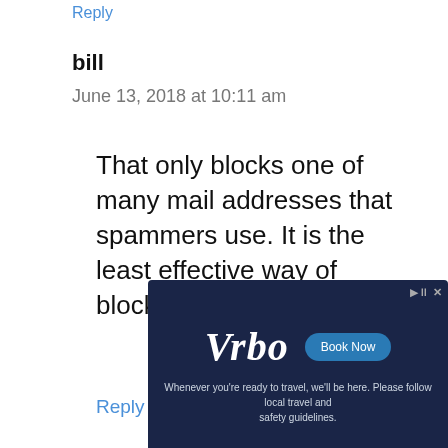Reply
bill
June 13, 2018 at 10:11 am
That only blocks one of many mail addresses that spammers use. It is the least effective way of blocking spam.
Reply
[Figure (screenshot): Vrbo advertisement with dark blue background, Vrbo logo in white italic script, a 'Book Now' button in blue, and tagline: 'Whenever you're ready to travel, we'll be here. Please follow local travel and safety guidelines.']